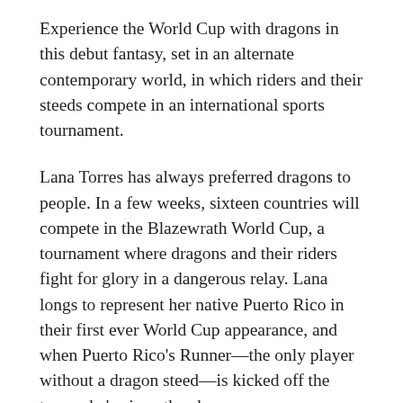Experience the World Cup with dragons in this debut fantasy, set in an alternate contemporary world, in which riders and their steeds compete in an international sports tournament.
Lana Torres has always preferred dragons to people. In a few weeks, sixteen countries will compete in the Blazewrath World Cup, a tournament where dragons and their riders fight for glory in a dangerous relay. Lana longs to represent her native Puerto Rico in their first ever World Cup appearance, and when Puerto Rico's Runner—the only player without a dragon steed—is kicked off the team, she's given the chance.
But when she discovers that a former Blazewrath superstar has teamed up with the Sire—a legendary